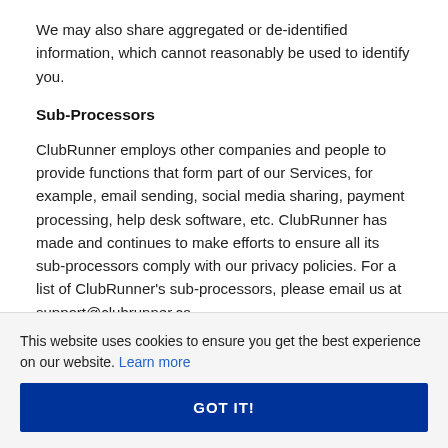We may also share aggregated or de-identified information, which cannot reasonably be used to identify you.
Sub-Processors
ClubRunner employs other companies and people to provide functions that form part of our Services, for example, email sending, social media sharing, payment processing, help desk software, etc. ClubRunner has made and continues to make efforts to ensure all its sub-processors comply with our privacy policies. For a list of ClubRunner's sub-processors, please email us at support@clubrunner.ca
This website uses cookies to ensure you get the best experience on our website. Learn more
GOT IT!